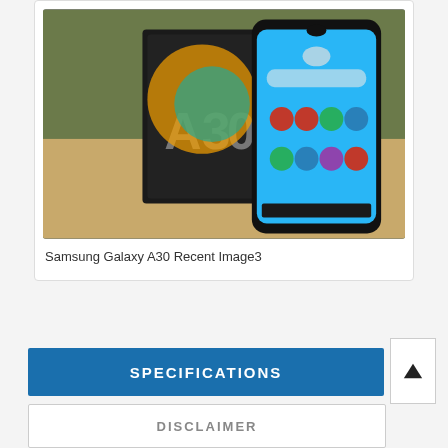[Figure (photo): Photo of Samsung Galaxy A30 smartphone next to its retail box on a wooden table, with green wall background and chairs visible]
Samsung Galaxy A30 Recent Image3
SPECIFICATIONS
DISCLAIMER